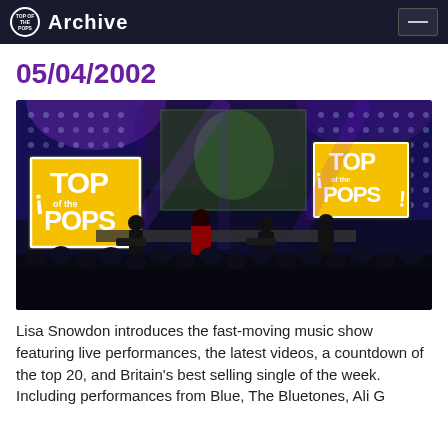Top of the Pops Archive
05/04/2002
[Figure (photo): Concert photo of a band performing on stage at Top of the Pops, with 'TOP OF THE POPS' logos visible on screens/signs in the background, purple stage lighting and a large crowd visible in the foreground.]
Lisa Snowdon introduces the fast-moving music show featuring live performances, the latest videos, a countdown of the top 20, and Britain's best selling single of the week. Including performances from Blue, The Bluetones, Ali G